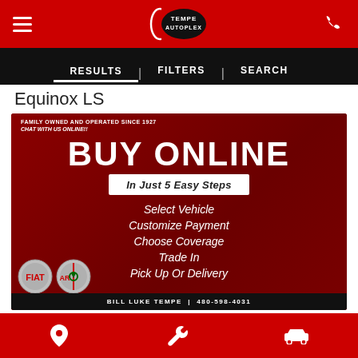Tempe Autoplex — top navigation bar with hamburger menu, logo, and phone icon
RESULTS   FILTERS   SEARCH
Equinox LS
[Figure (infographic): Buy Online In Just 5 Easy Steps promotional banner for Tempe Autoplex / Bill Luke Tempe dealership. Dark red background. Text reads: FAMILY OWNED AND OPERATED SINCE 1927 / CHAT WITH US ONLINE!! / BUY ONLINE / In Just 5 Easy Steps / Select Vehicle / Customize Payment / Choose Coverage / Trade In / Pick Up Or Delivery. Fiat and Alfa Romeo logos in lower left. Bottom black bar: BILL LUKE TEMPE | 480-xxx-xxxx]
Bottom navigation bar with location pin, wrench, and car icons